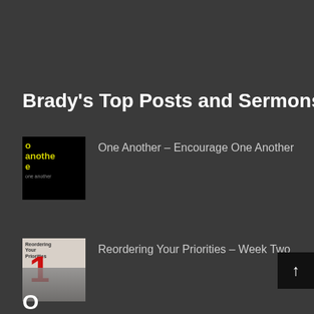Brady's Top Posts and Sermons
One Another - Encourage One Another
Reordering Your Priorities - Week Two
O...Wi...K...B...P...S...